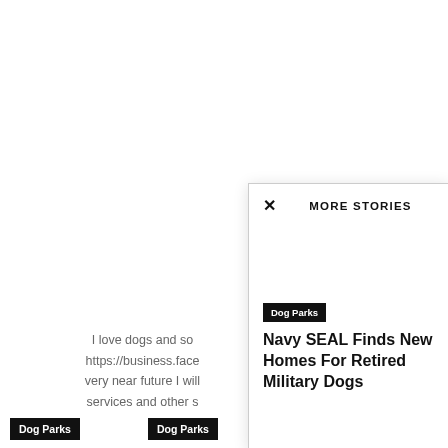I love dogs and so https://business.face very near future I will services and other s
[Figure (screenshot): A modal popup overlay titled MORE STORIES with a close X button, showing a Dog Parks tag and article title: Navy SEAL Finds New Homes For Retired Military Dogs]
Dog Parks
Dog Parks
Dog Breed Info